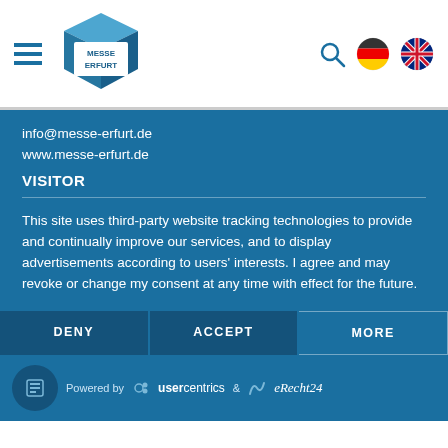[Figure (logo): Messe Erfurt logo - blue cube shaped display with white text 'MESSE ERFURT']
info@messe-erfurt.de
www.messe-erfurt.de
VISITOR
This site uses third-party website tracking technologies to provide and continually improve our services, and to display advertisements according to users' interests. I agree and may revoke or change my consent at any time with effect for the future.
DENY | ACCEPT | MORE
Powered by usercentrics & eRecht24